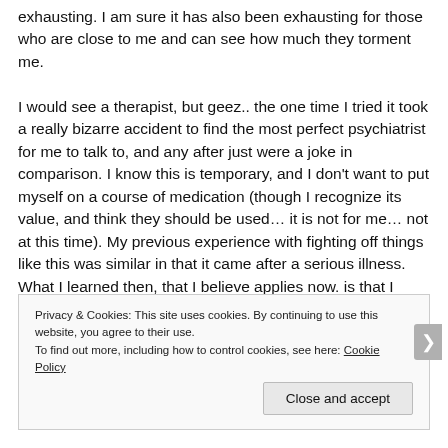exhausting. I am sure it has also been exhausting for those who are close to me and can see how much they torment me.

I would see a therapist, but geez.. the one time I tried it took a really bizarre accident to find the most perfect psychiatrist for me to talk to, and any after just were a joke in comparison. I know this is temporary, and I don't want to put myself on a course of medication (though I recognize its value, and think they should be used... it is not for me... not at this time). My previous experience with fighting off things like this was similar in that it came after a serious illness. What I learned then, that I believe applies now. is that I need to live this craziness and work through it
Privacy & Cookies: This site uses cookies. By continuing to use this website, you agree to their use.
To find out more, including how to control cookies, see here: Cookie Policy
Close and accept